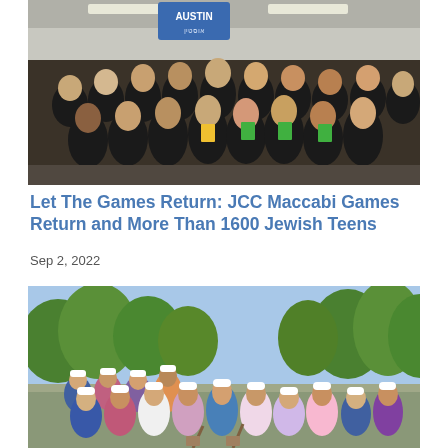[Figure (photo): Group photo of teens wearing black 'Austin' t-shirts with green and yellow lanyards/badges, standing indoors under fluorescent lights with an Austin sign visible above them.]
Let The Games Return: JCC Maccabi Games Return and More Than 1600 Jewish Teens
Sep 2, 2022
[Figure (photo): Large group of adults wearing white hard hats posing outdoors at a groundbreaking ceremony, surrounded by green trees.]